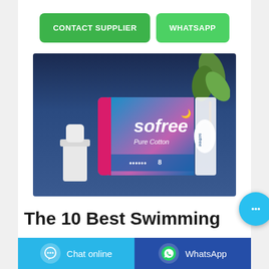[Figure (other): Two green buttons: 'CONTACT SUPPLIER' and 'WHATSAPP']
[Figure (photo): Product photo of Sofree Pure Cotton sanitary pads packaging on a white surface with a plant in the background]
The 10 Best Swimming
[Figure (other): Bottom bar with 'Chat online' (light blue) and 'WhatsApp' (dark blue) buttons, each with icons]
[Figure (other): Floating cyan circular chat button with ellipsis icon]